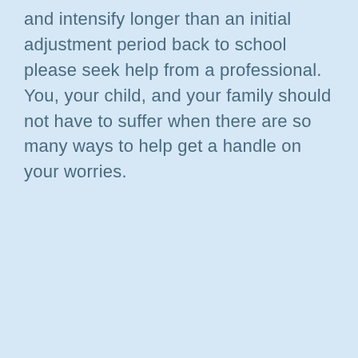and intensify longer than an initial adjustment period back to school please seek help from a professional.  You, your child, and your family should not have to suffer when there are so many ways to help get a handle on your worries.